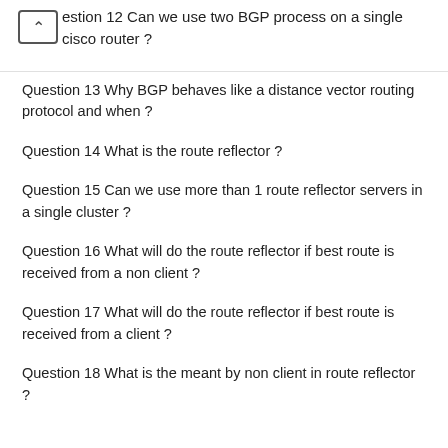estion 12 Can we use two BGP process on a single cisco router ?
Question 13 Why BGP behaves like a distance vector routing protocol and when ?
Question 14 What is the route reflector ?
Question 15 Can we use more than 1 route reflector servers in a single cluster ?
Question 16 What will do the route reflector if best route is received from a non client ?
Question 17 What will do the route reflector if best route is received from a client ?
Question 18 What is the meant by non client in route reflector ?